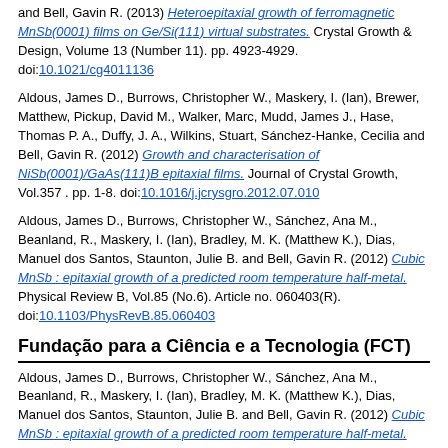and Bell, Gavin R. (2013) Heteroepitaxial growth of ferromagnetic MnSb(0001) films on Ge/Si(111) virtual substrates. Crystal Growth & Design, Volume 13 (Number 11). pp. 4923-4929. doi:10.1021/cg4011136
Aldous, James D., Burrows, Christopher W., Maskery, I. (Ian), Brewer, Matthew, Pickup, David M., Walker, Marc, Mudd, James J., Hase, Thomas P. A., Duffy, J. A., Wilkins, Stuart, Sánchez-Hanke, Cecilia and Bell, Gavin R. (2012) Growth and characterisation of NiSb(0001)/GaAs(111)B epitaxial films. Journal of Crystal Growth, Vol.357 . pp. 1-8. doi:10.1016/j.jcrysgro.2012.07.010
Aldous, James D., Burrows, Christopher W., Sánchez, Ana M., Beanland, R., Maskery, I. (Ian), Bradley, M. K. (Matthew K.), Dias, Manuel dos Santos, Staunton, Julie B. and Bell, Gavin R. (2012) Cubic MnSb : epitaxial growth of a predicted room temperature half-metal. Physical Review B, Vol.85 (No.6). Article no. 060403(R). doi:10.1103/PhysRevB.85.060403
Fundação para a Ciência e a Tecnologia (FCT)
Aldous, James D., Burrows, Christopher W., Sánchez, Ana M., Beanland, R., Maskery, I. (Ian), Bradley, M. K. (Matthew K.), Dias, Manuel dos Santos, Staunton, Julie B. and Bell, Gavin R. (2012) Cubic MnSb : epitaxial growth of a predicted room temperature half-metal. Physical Review B, Vol.85 (No.6). Article no. 060403(R). doi:10.1103/PhysRevB.85.060403